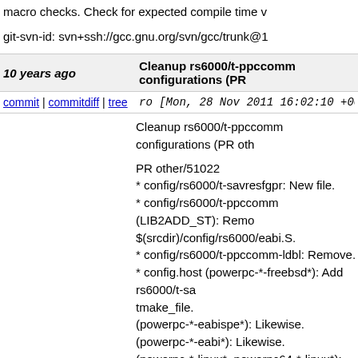macro checks. Check for expected compile time v
git-svn-id: svn+ssh://gcc.gnu.org/svn/gcc/trunk@1
10 years ago — Cleanup rs6000/t-ppccomm configurations (PR
commit | commitdiff | tree — ro [Mon, 28 Nov 2011 16:02:10 +0000 (16:
Cleanup rs6000/t-ppccomm configurations (PR oth

PR other/51022
* config/rs6000/t-savresfgpr: New file.
* config/rs6000/t-ppccomm (LIB2ADD_ST): Remo
$(srcdir)/config/rs6000/eabi.S.
* config/rs6000/t-ppccomm-ldbl: Remove.
* config.host (powerpc-*-freebsd*): Add rs6000/t-sa
tmake_file.
(powerpc-*-eabispe*): Likewise.
(powerpc-*-eabi*): Likewise.
(powerpc-*-linux*, powerpc64-*-linux*): Likewise.
(powerpc-wrs-vxworks, powerpc-wrs-vxworksae):
to tmake_file, remove rs6000/t-ppccomm-ldbl.
(powerpc-*-eabisimaltivec*): Remove rs6000/t-ppc
tmake_file.
(powerpc-*-eabisim*): Likewise.
(powerpc-*-elf*): Likewise.
(powerpc-*-eabialtivec*): Likewise.
(powerpc-xilinx-eabi*): Likewise.
(powerpc-*-rtems*): Likewise.
(powerpcle-*-elf*): Likewise.